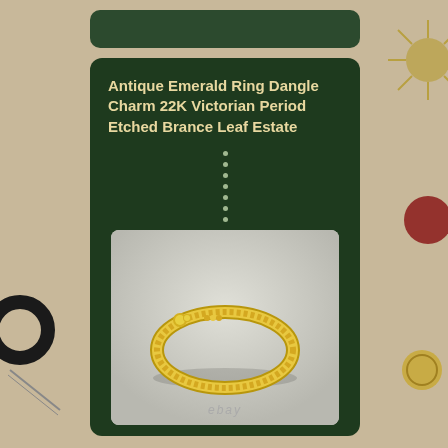Antique Emerald Ring Dangle Charm 22K Victorian Period Etched Brance Leaf Estate
[Figure (photo): Photo of a 22K gold antique Victorian period ring with etched leaf pattern and dangle charm detail, shown on a grey surface. eBay watermark at bottom.]